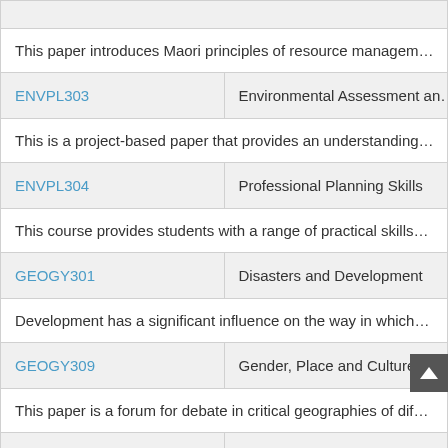| Code | Course Name |
| --- | --- |
|  | (partial top row clipped) |
|  | This paper introduces Maori principles of resource managem… |
| ENVPL303 | Environmental Assessment an… |
|  | This is a project-based paper that provides an understanding… |
| ENVPL304 | Professional Planning Skills |
|  | This course provides students with a range of practical skills… |
| GEOGY301 | Disasters and Development |
|  | Development has a significant influence on the way in which… |
| GEOGY309 | Gender, Place and Culture |
|  | This paper is a forum for debate in critical geographies of dif… |
| GEOGY323 | Indigenous Geographies |